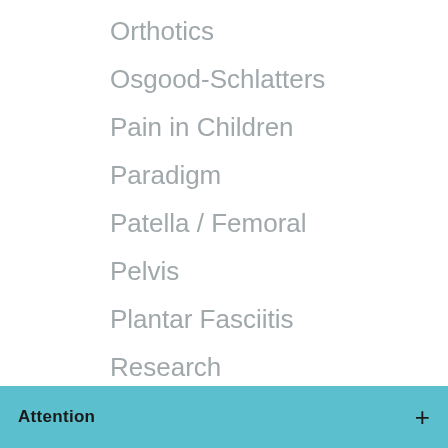Orthotics
Osgood-Schlatters
Pain in Children
Paradigm
Patella / Femoral
Pelvis
Plantar Fasciitis
Research
Rotator Cuff
Running
Attention   +